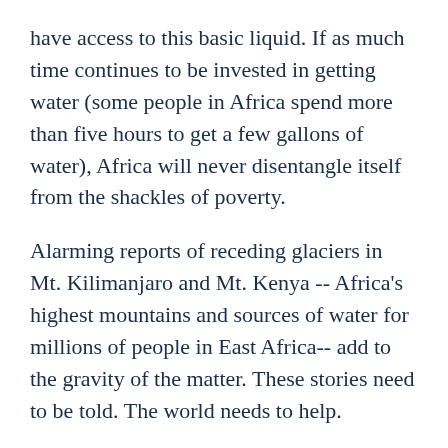have access to this basic liquid. If as much time continues to be invested in getting water (some people in Africa spend more than five hours to get a few gallons of water), Africa will never disentangle itself from the shackles of poverty.
Alarming reports of receding glaciers in Mt. Kilimanjaro and Mt. Kenya -- Africa's highest mountains and sources of water for millions of people in East Africa-- add to the gravity of the matter. These stories need to be told. The world needs to help.
It is therefore incalculably gratifying that I return to Eastern Africa this January to write stories on water scarcity and its impact -- a